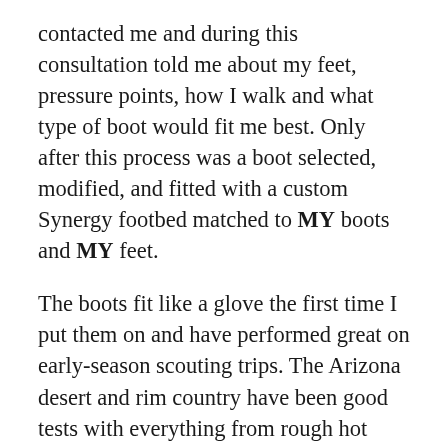contacted me and during this consultation told me about my feet, pressure points, how I walk and what type of boot would fit me best. Only after this process was a boot selected, modified, and fitted with a custom Synergy footbed matched to MY boots and MY feet.
The boots fit like a glove the first time I put them on and have performed great on early-season scouting trips. The Arizona desert and rim country have been good tests with everything from rough hot terrain to wet riparian areas. My feet have stayed dry and comfortable with the eVent liner.
The L&S Mountain Hunter also comes in wide and insulated models so you can get the boot that is right for your feet.